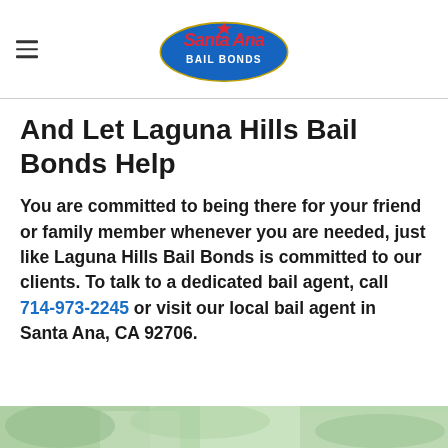Santa Ana Bail Bonds (logo)
And Let Laguna Hills Bail Bonds Help
You are committed to being there for your friend or family member whenever you are needed, just like Laguna Hills Bail Bonds is committed to our clients. To talk to a dedicated bail agent, call 714-973-2245 or visit our local bail agent in Santa Ana, CA 92706.
[Figure (photo): Partial outdoor photo with blurred green foliage background, bottom of page]